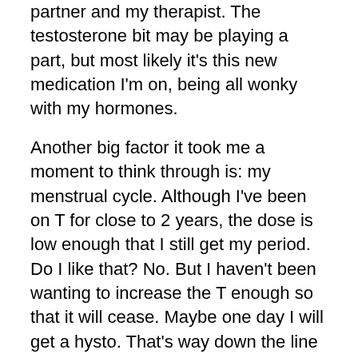partner and my therapist.  The testosterone bit may be playing a part, but most likely it's this new medication I'm on, being all wonky with my hormones.
Another big factor it took me a moment to think through is: my menstrual cycle.  Although I've been on T for close to 2 years, the dose is low enough that I still get my period.  Do I like that?  No.  But I haven't been wanting to increase the T enough so that it will cease.  Maybe one day I will get a hysto.  That's way down the line though.  For now, my menstrual cycle is mild enough that I can deal with it.  Until the addition of this atypical antipsychotic (Geodon), that is.  While premenstrual, I was experiencing hot flashes and cold sweats.  I stunk all around (feet, underarms, breath).  I could not be around too much light or too much noise or too many people.  (My partner and I call it TMS for Too Much Stimulation.)  I was making it through the